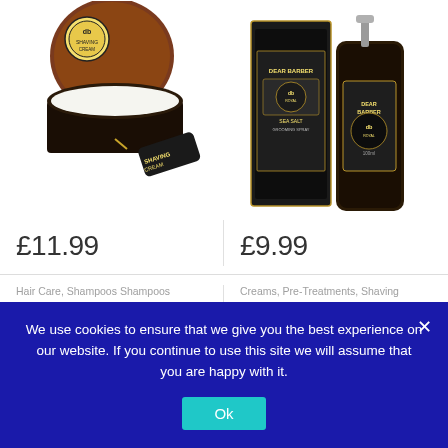[Figure (photo): Dear Barber shaving cream product in a dark round tin with wooden lid and branded tag]
[Figure (photo): Dear Barber Sea Salt Grooming Spray bottle in dark glass with pump cap next to its black and gold box packaging]
£11.99
£9.99
Hair Care, Shampoos Shampoos
Dear Barber Shampoo, Nourishing Shampoo For All
Creams, Pre-Treatments, Shaving
Dear Barber Shave Cream, Sensitive Shaving Cream
We use cookies to ensure that we give you the best experience on our website. If you continue to use this site we will assume that you are happy with it.